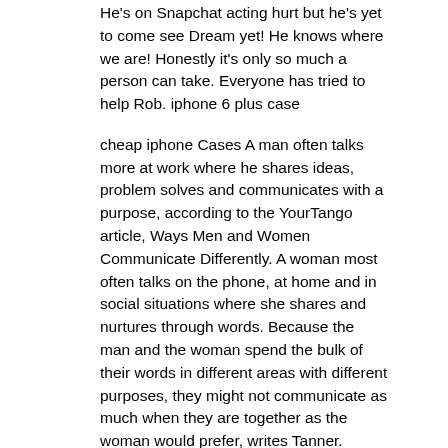He's on Snapchat acting hurt but he's yet to come see Dream yet! He knows where we are! Honestly it's only so much a person can take. Everyone has tried to help Rob. iphone 6 plus case
cheap iphone Cases A man often talks more at work where he shares ideas, problem solves and communicates with a purpose, according to the YourTango article, Ways Men and Women Communicate Differently. A woman most often talks on the phone, at home and in social situations where she shares and nurtures through words. Because the man and the woman spend the bulk of their words in different areas with different purposes, they might not communicate as much when they are together as the woman would prefer, writes Tanner. cheap iphone Cases
iPhone Cases sale Oh, that dam that's at least keeping this hellish landscape contained to the damned of Baotou? It was so shoddily built that even the slightest tremor could bring it toppling down and trigger the ecological end of days. But maybe there's a silver lining. Maybe the mutations will give us all cool tails.. iPhone Cases sale
iphone x cases If the site were to remain vacant for the most